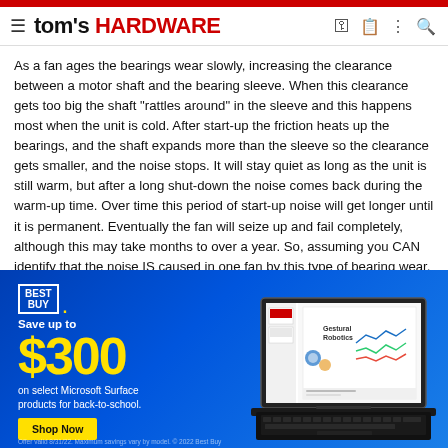tom's HARDWARE
As a fan ages the bearings wear slowly, increasing the clearance between a motor shaft and the bearing sleeve. When this clearance gets too big the shaft "rattles around" in the sleeve and this happens most when the unit is cold. After start-up the friction heats up the bearings, and the shaft expands more than the sleeve so the clearance gets smaller, and the noise stops. It will stay quiet as long as the unit is still warm, but after a long shut-down the noise comes back during the warm-up time. Over time this period of start-up noise will get longer until it is permanent. Eventually the fan will seize up and fail completely, although this may take months to over a year. So, assuming you CAN identify that the noise IS caused in one fan by this type of bearing wear, plan to replace that fan sometime in
[Figure (screenshot): Best Buy advertisement banner: Save up to $300 on select Microsoft Surface products for back-to-school. Shows a laptop with Microsoft PowerPoint open displaying a Gestural Robotics presentation. Shop Now button.]